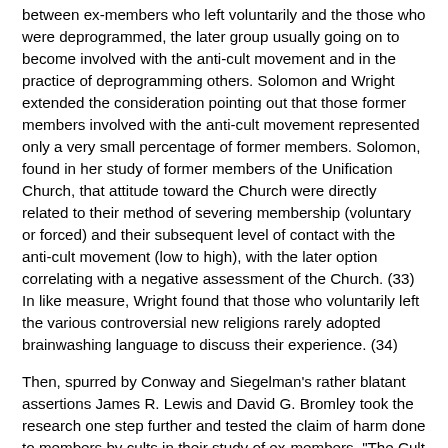between ex-members who left voluntarily and the those who were deprogrammed, the later group usually going on to become involved with the anti-cult movement and in the practice of deprogramming others. Solomon and Wright extended the consideration pointing out that those former members involved with the anti-cult movement represented only a very small percentage of former members. Solomon, found in her study of former members of the Unification Church, that attitude toward the Church were directly related to their method of severing membership (voluntary or forced) and their subsequent level of contact with the anti-cult movement (low to high), with the later option correlating with a negative assessment of the Church. (33) In like measure, Wright found that those who voluntarily left the various controversial new religions rarely adopted brainwashing language to discuss their experience. (34)
Then, spurred by Conway and Siegelman's rather blatant assertions James R. Lewis and David G. Bromley took the research one step further and tested the claim of harm done to members by cults in their study of ex-members, "The Cult Withdrawal Syndrome: A Case of Misattribution of Cause" (1987), (35) reprinted below. This study largely laid to rest the continuing issue of pathology among former members of new religions. Using a more representative sample of former members, Lewis and Bromley measured the presence of the various pathological symptoms that Conway and Siegelman had discovered in their sample of former members (an extension of the symptoms discussed elsewhere by Singer). While disconfirming many of Conway and Siegelman's assertions, such as that people who had been in groups longer would show more symptoms, Lewis and Bromley were able to pinpoint the major source of dysfunctional